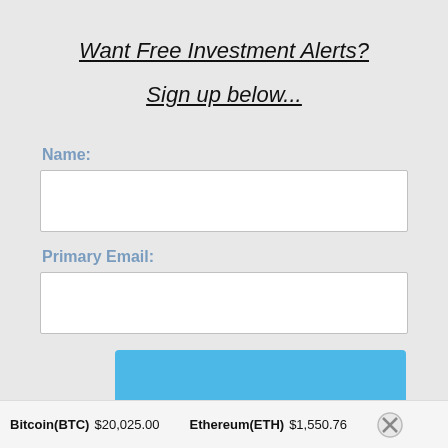Want Free Investment Alerts?
Sign up below...
Name:
Primary Email:
Submit
Bitcoin(BTC) $20,025.00   Ethereum(ETH) $1,550.76